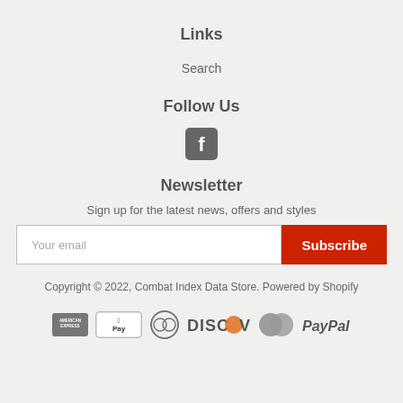Links
Search
Follow Us
[Figure (other): Facebook icon (square with stylized 'f')]
Newsletter
Sign up for the latest news, offers and styles
Your email [input field] Subscribe [button]
Copyright © 2022, Combat Index Data Store. Powered by Shopify
[Figure (other): Payment method icons: American Express, Apple Pay, Diners Club, Discover, Mastercard, PayPal]